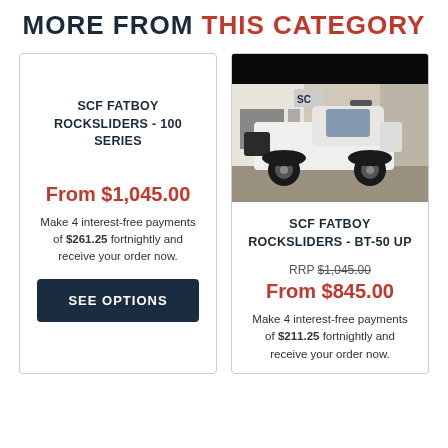MORE FROM THIS CATEGORY
SCF FATBOY ROCKSLIDERS - 100 SERIES
From $1,045.00
Make 4 interest-free payments of $261.25 fortnightly and receive your order now.
SEE OPTIONS
[Figure (photo): White pickup truck (likely Mazda BT-50 UP) parked outside a building with SCF branding]
SCF FATBOY ROCKSLIDERS - BT-50 UP
RRP $1,045.00 From $845.00
Make 4 interest-free payments of $211.25 fortnightly and receive your order now.